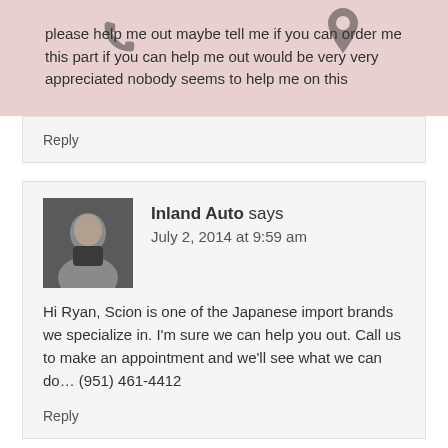please help me out maybe tell me if you can order me this part if you can help me out would be very very appreciated nobody seems to help me on this
Reply
Inland Auto says
July 2, 2014 at 9:59 am
Hi Ryan, Scion is one of the Japanese import brands we specialize in. I'm sure we can help you out. Call us to make an appointment and we'll see what we can do… (951) 461-4412
Reply
Speak Your Mind